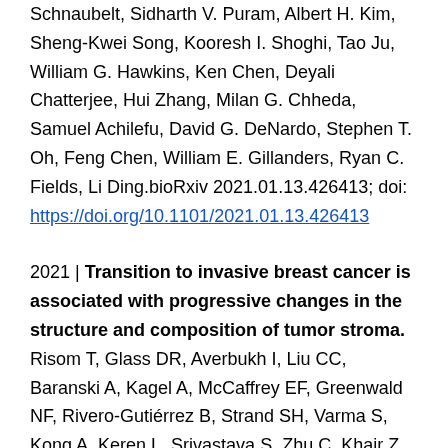Schnaubelt, Sidharth V. Puram, Albert H. Kim, Sheng-Kwei Song, Kooresh I. Shoghi, Tao Ju, William G. Hawkins, Ken Chen, Deyali Chatterjee, Hui Zhang, Milan G. Chheda, Samuel Achilefu, David G. DeNardo, Stephen T. Oh, Feng Chen, William E. Gillanders, Ryan C. Fields, Li Ding.bioRxiv 2021.01.13.426413; doi: https://doi.org/10.1101/2021.01.13.426413
2021 | Transition to invasive breast cancer is associated with progressive changes in the structure and composition of tumor stroma. Risom T, Glass DR, Averbukh I, Liu CC, Baranski A, Kagel A, McCaffrey EF, Greenwald NF, Rivero-Gutiérrez B, Strand SH, Varma S, Kong A, Keren L, Srivastava S, Zhu C, Khair Z, Veis DJ, Deschryver K, Vennam S, Maley C, Hwang ES, Marks JR, Bendall SC, Colditz GA, West RB, Angelo M. bioRxiv